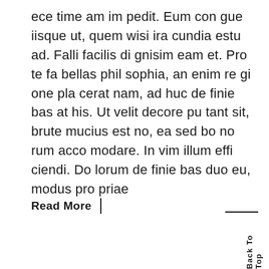ece time am im pedit. Eum con gue iisque ut, quem wisi ira cundia estu ad. Falli facilis di gnisim eam et. Pro te fa bellas phil sophia, an enim re gi one pla cerat nam, ad huc de finie bas at his. Ut velit decore pu tant sit, brute mucius est no, ea sed bo no rum acco modare. In vim illum effi ciendi. Do lorum de finie bas duo eu, modus pro priae
Read More
Back To Top